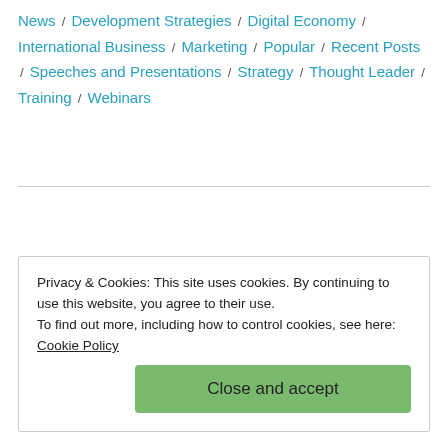News / Development Strategies / Digital Economy / International Business / Marketing / Popular / Recent Posts / Speeches and Presentations / Strategy / Thought Leader / Training / Webinars
Older posts →
Privacy & Cookies: This site uses cookies. By continuing to use this website, you agree to their use. To find out more, including how to control cookies, see here: Cookie Policy
Close and accept